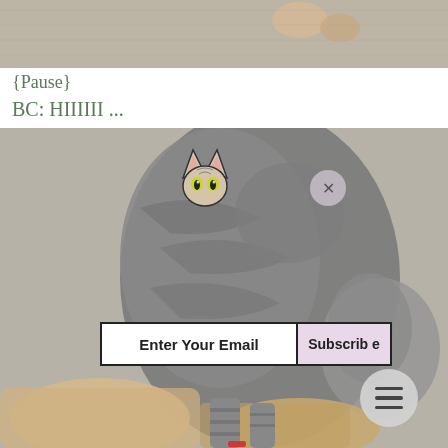[Figure (photo): Top portion of a cat photo showing a light-colored cat on a textured carpet background]
{Pause}
BC: HIIIIII ...
[Figure (photo): A gray tabby cat photographed from above on a textured carpet with a stuffed toy. A cat face emoji/sticker overlay appears near the top of the image. An email subscription bar with 'Enter Your Email' and 'Subscribe' button is overlaid on the image. A close X button and hamburger menu button are also overlaid.]